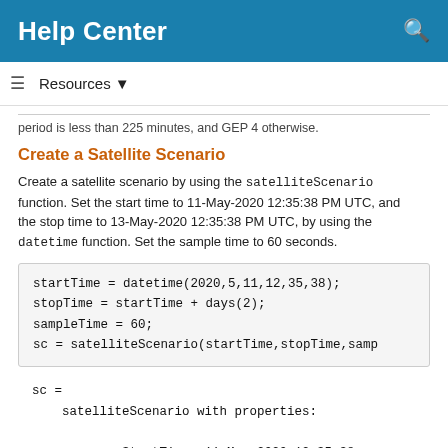Help Center
Resources ▼
period is less than 225 minutes, and GEP 4 otherwise.
Create a Satellite Scenario
Create a satellite scenario by using the satelliteScenario function. Set the start time to 11-May-2020 12:35:38 PM UTC, and the stop time to 13-May-2020 12:35:38 PM UTC, by using the datetime function. Set the sample time to 60 seconds.
startTime = datetime(2020,5,11,12,35,38);
stopTime = startTime + days(2);
sampleTime = 60;
sc = satelliteScenario(startTime,stopTime,samp
sc =
    satelliteScenario with properties:

            StartTime: 11-May-2020 12:35:38
             StopTime: 13-May-2020 12:35:38
           SampleTime: 60